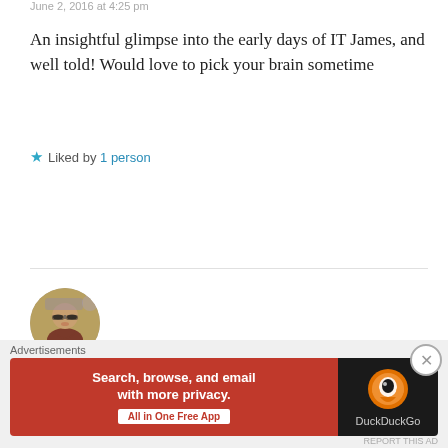June 2, 2016 at 4:25 pm
An insightful glimpse into the early days of IT James, and well told! Would love to pick your brain sometime
★ Liked by 1 person
Reply
[Figure (photo): Circular avatar photo of James B. Olcott, a person wearing sunglasses outdoors]
James B. Olcott
June 1, 2016 at 10:14 am
Advertisements
[Figure (infographic): DuckDuckGo advertisement banner: 'Search, browse, and email with more privacy. All in One Free App' on red background with DuckDuckGo logo on dark background]